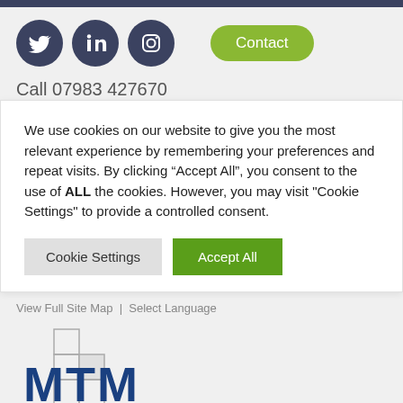[Figure (logo): Social media icons: Twitter, LinkedIn, Instagram (dark navy circles) and a green rounded Contact button]
Call 07983 427670
We use cookies on our website to give you the most relevant experience by remembering your preferences and repeat visits. By clicking “Accept All”, you consent to the use of ALL the cookies. However, you may visit "Cookie Settings" to provide a controlled consent.
Cookie Settings   Accept All
View Full Site Map  |  Select Language
[Figure (logo): MTM company logo with blue letters M T M and grey geometric squares/rectangles]